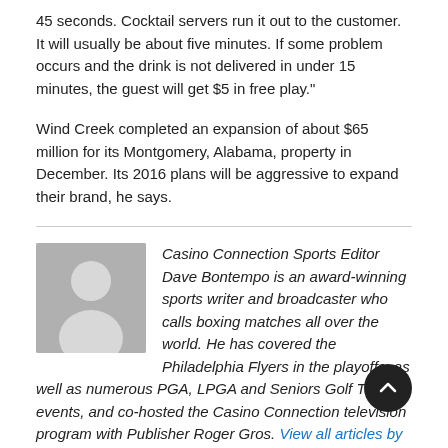45 seconds. Cocktail servers run it out to the customer. It will usually be about five minutes. If some problem occurs and the drink is not delivered in under 15 minutes, the guest will get $5 in free play."
Wind Creek completed an expansion of about $65 million for its Montgomery, Alabama, property in December. Its 2016 plans will be aggressive to expand their brand, he says.
Casino Connection Sports Editor Dave Bontempo is an award-winning sports writer and broadcaster who calls boxing matches all over the world. He has covered the Philadelphia Flyers in the playoffs, as well as numerous PGA, LPGA and Seniors Golf Tour events, and co-hosted the Casino Connection television program with Publisher Roger Gros. View all articles by Dave Bontempo